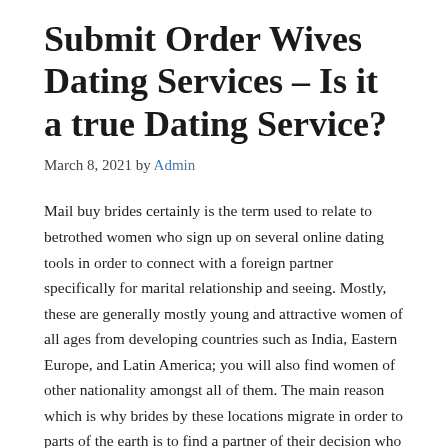Submit Order Wives Dating Services – Is it a true Dating Service?
March 8, 2021 by Admin
Mail buy brides certainly is the term used to relate to betrothed women who sign up on several online dating tools in order to connect with a foreign partner specifically for marital relationship and seeing. Mostly, these are generally mostly young and attractive women of all ages from developing countries such as India, Eastern Europe, and Latin America; you will also find women of other nationality amongst all of them. The main reason which is why brides by these locations migrate in order to parts of the earth is to find a partner of their decision who lives in a different country. In